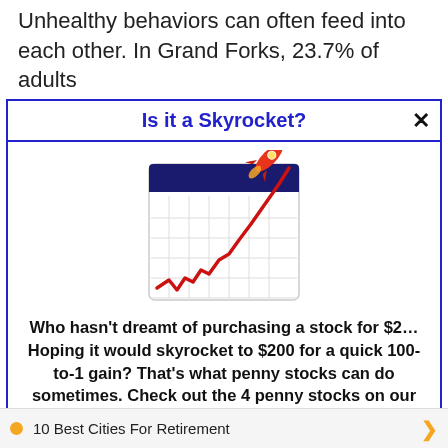Unhealthy behaviors can often feed into each other. In Grand Forks, 23.7% of adults
Is it a Skyrocket?
[Figure (illustration): Illustration of a stock chart on a calendar/notepad showing a red line trending upward sharply with a rocket launching from it]
Who hasn't dreamt of purchasing a stock for $2… Hoping it would skyrocket to $200 for a quick 100-to-1 gain? That's what penny stocks can do sometimes. Check out the 4 penny stocks on our watchlist here.
>>> See The List <<<
10 Best Cities For Retirement